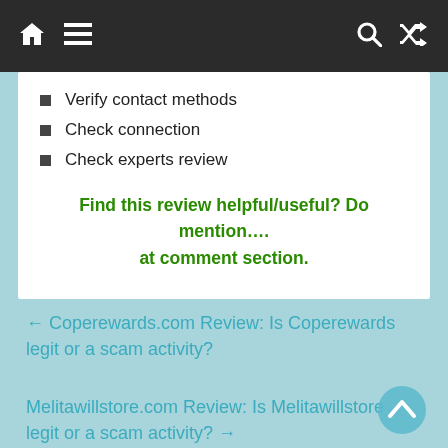Navigation bar with home, menu, search, and shuffle icons
Verify contact methods
Check connection
Check experts review
Find this review helpful/useful? Do mention.... at comment section.
← Coperewards.com Review: Is Coperewards legit or a scam activity?
Melitawillstore.com Review: Is Melitawillstore legit or a scam activity? →